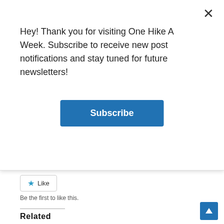Hey! Thank you for visiting One Hike A Week. Subscribe to receive new post notifications and stay tuned for future newsletters!
Subscribe
Like
Be the first to like this.
Related
[Figure (photo): Snowy winter mountain landscape with bright sun and snow-covered trees and rocks]
2016/12/25 – Surprise Lake V / □□□□□
2016/12/25
[Figure (photo): Person posing on a snowy mountain slope with trees in background]
2010/12/25 – Surprise Lake / □□□
2010/12/25